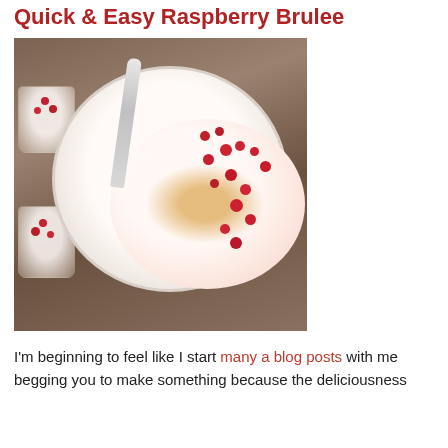Quick & Easy Raspberry Brulee
[Figure (photo): Overhead view of a white bowl containing raspberry brulee with fresh raspberries scattered on top and a caramelized sugar surface, a silver spoon in the bowl, two small glasses with raspberries and cream visible on a wooden table surface]
I'm beginning to feel like I start many a blog posts with me begging you to make something because the deliciousness